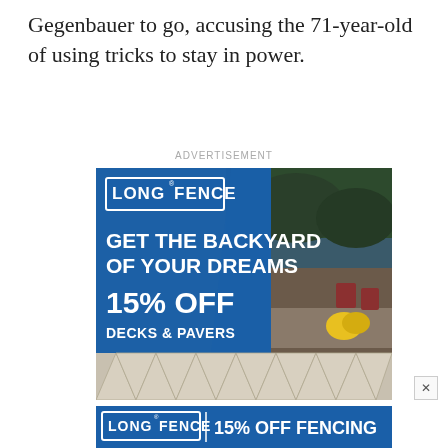Gegenbauer to go, accusing the 71-year-old of using tricks to stay in power.
ADVERTISEMENT
[Figure (illustration): Long Fence advertisement banner. Blue background with white text: 'LONG FENCE' logo in a white bordered box, large text 'GET THE BACKYARD OF YOUR DREAMS', '15% OFF', 'DECKS & PAVERS'. Right side shows a photo of an outdoor patio with chairs and yellow flowers at dusk.]
[Figure (illustration): Long Fence bottom banner advertisement with blue background: 'LONG FENCE' logo and '15% OFF FENCING' text in white.]